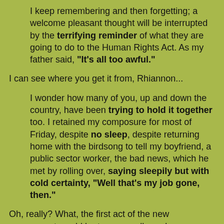I keep remembering and then forgetting; a welcome pleasant thought will be interrupted by the terrifying reminder of what they are going to do to the Human Rights Act. As my father said, "It's all too awful."
I can see where you get it from, Rhiannon...
I wonder how many of you, up and down the country, have been trying to hold it together too. I retained my composure for most of Friday, despite no sleep, despite returning home with the birdsong to tell my boyfriend, a public sector worker, the bad news, which he met by rolling over, saying sleepily but with cold certainty, "Well that's my job gone, then."
Oh, really? What, the first act of the new government would be to personally sack your boyfriend, would it?
I held it together on College Green during a BBC World Service segment and, later, as I jokingly...